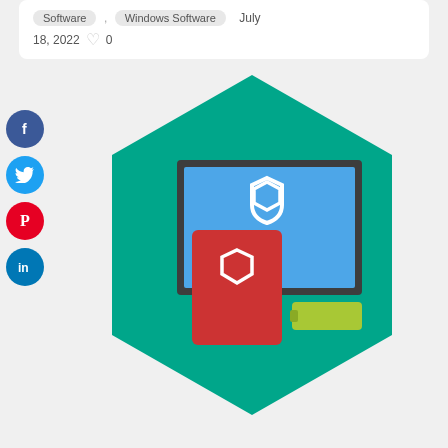Software , Windows Software   July 18, 2022  ♡ 0
[Figure (illustration): Kaspersky security software icon — a teal hexagon containing a monitor with a blue screen showing a shield icon, a red tablet/phone with a shield icon, and a yellow-green USB drive, representing multi-device security software]
[Figure (infographic): Social media sharing sidebar with Facebook, Twitter, Pinterest, and LinkedIn circular icon buttons]